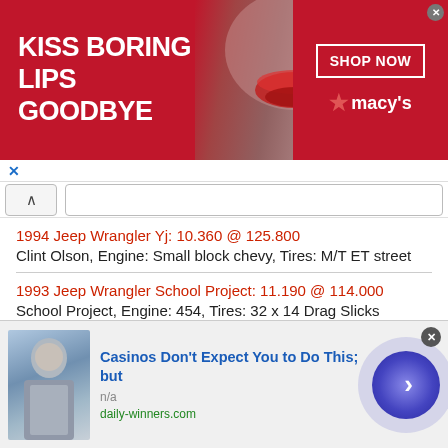[Figure (infographic): Macy's advertisement banner: red background with white text 'KISS BORING LIPS GOODBYE', a woman's face with red lips, 'SHOP NOW' button and Macy's star logo]
1994 Jeep Wrangler Yj: 10.360 @ 125.800
Clint Olson, Engine: Small block chevy, Tires: M/T ET street
1993 Jeep Wrangler School Project: 11.190 @ 114.000
School Project, Engine: 454, Tires: 32 x 14 Drag Slicks
1989 Jeep Wrangler : 11.652 @ 113.870
Lee, Engine: Chevy 350, Tires: MT street radial 295x55x15, MT 165x60x15
[Figure (infographic): Bottom advertisement: photo of a man, text 'Casinos Don’t Expect You to Do This; but', 'n/a', 'daily-winners.com', blue circular arrow button]